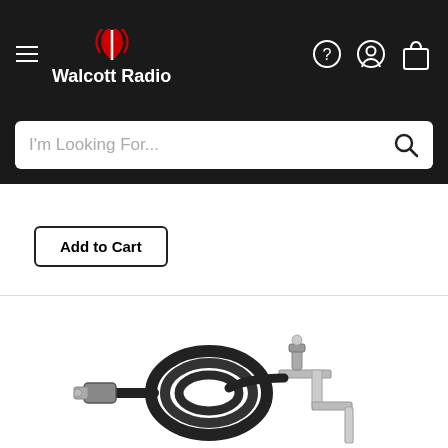Walcott Radio
I'm Looking For...
Add to Cart
[Figure (photo): CB radio antenna mount with coiled black cable and PL-259 connector, along with a metal L-bracket mount, photographed on white background]